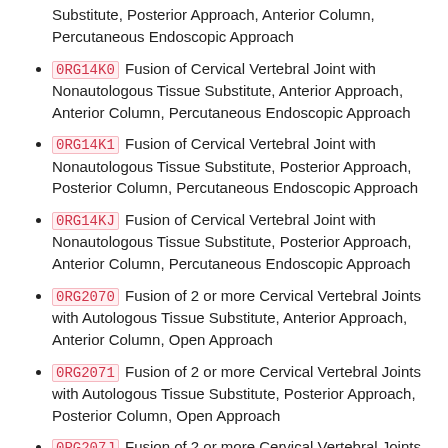0RG14J0 Fusion of Cervical Vertebral Joint with Synthetic Substitute, Posterior Approach, Anterior Column, Percutaneous Endoscopic Approach
0RG14K0 Fusion of Cervical Vertebral Joint with Nonautologous Tissue Substitute, Anterior Approach, Anterior Column, Percutaneous Endoscopic Approach
0RG14K1 Fusion of Cervical Vertebral Joint with Nonautologous Tissue Substitute, Posterior Approach, Posterior Column, Percutaneous Endoscopic Approach
0RG14KJ Fusion of Cervical Vertebral Joint with Nonautologous Tissue Substitute, Posterior Approach, Anterior Column, Percutaneous Endoscopic Approach
0RG2070 Fusion of 2 or more Cervical Vertebral Joints with Autologous Tissue Substitute, Anterior Approach, Anterior Column, Open Approach
0RG2071 Fusion of 2 or more Cervical Vertebral Joints with Autologous Tissue Substitute, Posterior Approach, Posterior Column, Open Approach
0RG207J Fusion of 2 or more Cervical Vertebral Joints with Autologous Tissue Substitute, Posterior Approach, Anterior